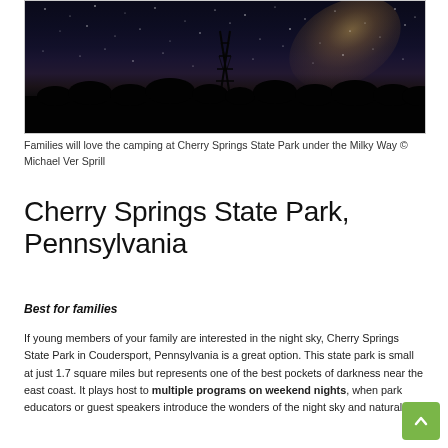[Figure (photo): Night sky photo showing Milky Way galaxy above a silhouetted tower and treeline at Cherry Springs State Park]
Families will love the camping at Cherry Springs State Park under the Milky Way © Michael Ver Sprill
Cherry Springs State Park, Pennsylvania
Best for families
If young members of your family are interested in the night sky, Cherry Springs State Park in Coudersport, Pennsylvania is a great option. This state park is small at just 1.7 square miles but represents one of the best pockets of darkness near the east coast. It plays host to multiple programs on weekend nights, when park educators or guest speakers introduce the wonders of the night sky and natural